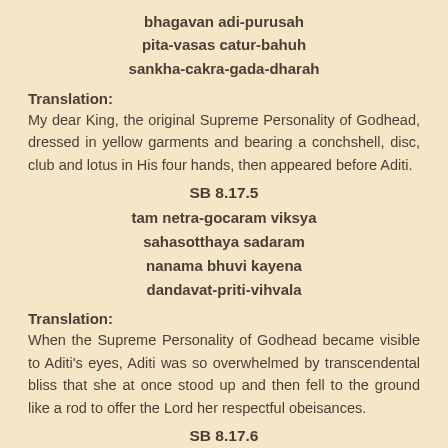bhagavan adi-purusah
pita-vasas catur-bahuh
sankha-cakra-gada-dharah
Translation:
My dear King, the original Supreme Personality of Godhead, dressed in yellow garments and bearing a conchshell, disc, club and lotus in His four hands, then appeared before Aditi.
SB 8.17.5
tam netra-gocaram viksya
sahasotthaya sadaram
nanama bhuvi kayena
dandavat-priti-vihvala
Translation:
When the Supreme Personality of Godhead became visible to Aditi's eyes, Aditi was so overwhelmed by transcendental bliss that she at once stood up and then fell to the ground like a rod to offer the Lord her respectful obeisances.
SB 8.17.6